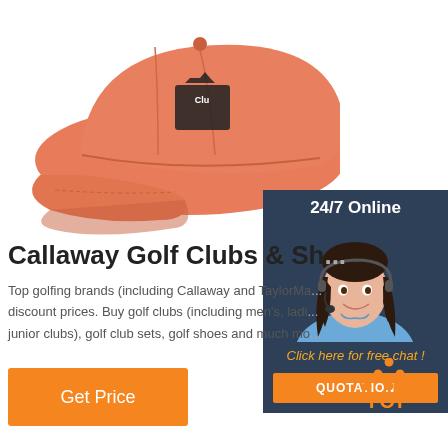[Figure (photo): Salmon/coral colored Callaway golf cap with logo on white background]
[Figure (infographic): 24/7 Online customer service widget showing a female agent with headset, 'Click here for free chat!' text and orange QUOTATION button]
Callaway Golf Clubs & Sh...
Top golfing brands (including Callaway and TaylorMa... discount prices. Buy golf clubs (including men's, ladi... junior clubs), golf club sets, golf shoes and much mo...
[Figure (other): Orange Get Price button]
[Figure (logo): TOP logo with orange dots arranged in triangle above text TOP]